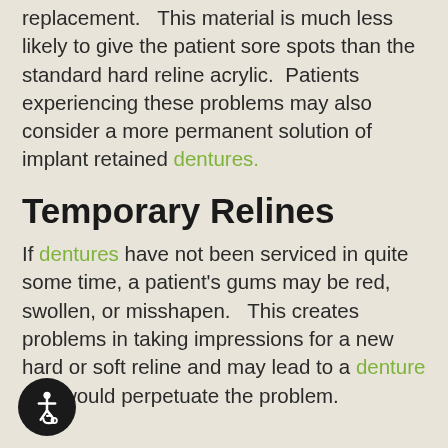replacement.   This material is much less likely to give the patient sore spots than the standard hard reline acrylic.  Patients experiencing these problems may also consider a more permanent solution of implant retained dentures.
Temporary Relines
If dentures have not been serviced in quite some time, a patient's gums may be red, swollen, or misshapen.   This creates problems in taking impressions for a new hard or soft reline and may lead to a denture that would perpetuate the problem.